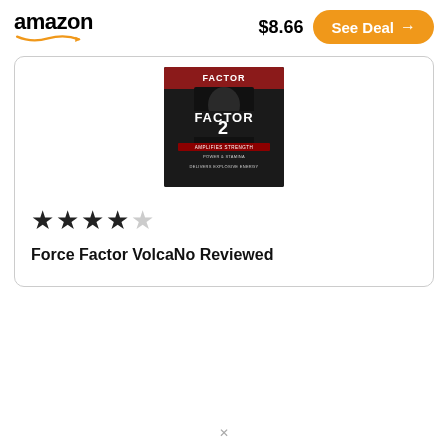amazon  $8.66  See Deal →
[Figure (photo): Force Factor VolcaNo supplement product image showing 'FACTOR 2' label on dark background]
★★★★☆
Force Factor VolcaNo Reviewed